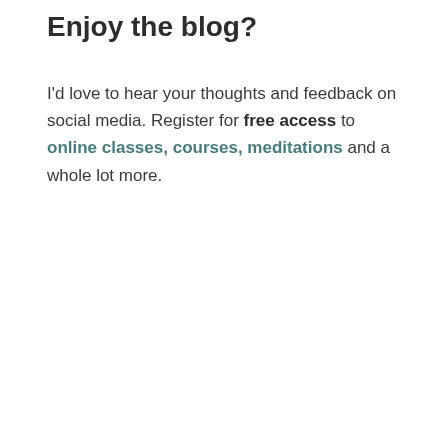Enjoy the blog?
I'd love to hear your thoughts and feedback on social media. Register for free access to online classes, courses, meditations and a whole lot more.